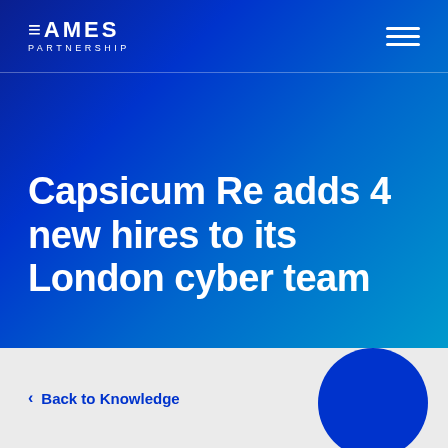EAMES PARTNERSHIP
Capsicum Re adds 4 new hires to its London cyber team
Back to Knowledge